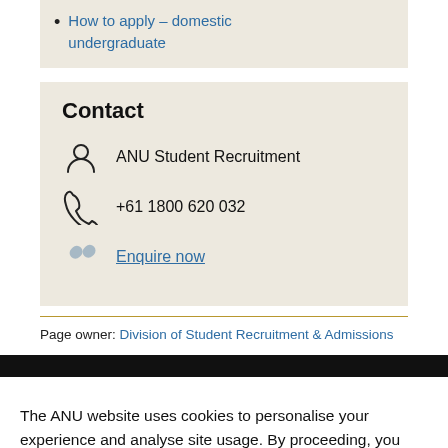How to apply - domestic undergraduate
Contact
ANU Student Recruitment
+61 1800 620 032
Enquire now
Page owner: Division of Student Recruitment & Admissions
The ANU website uses cookies to personalise your experience and analyse site usage. By proceeding, you consent to our use of cookies. Personal information will be handled in accordance with the